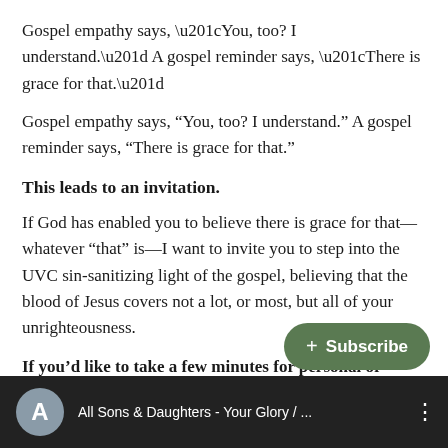Gospel empathy says, “You, too? I understand.” A gospel reminder says, “There is grace for that.”
This leads to an invitation.
If God has enabled you to believe there is grace for that—whatever “that” is—I want to invite you to step into the UVC sin-sanitizing light of the gospel, believing that the blood of Jesus covers not a lot, or most, but all of your unrighteousness.
If you’d like to take a few minutes for personal or family worship, watch and listen below to Your Glory/Nothing But the Blood by All Sons and Daughters.
[Figure (screenshot): YouTube video thumbnail showing All Sons & Daughters - Your Glory / ... with a Subscribe button overlay]